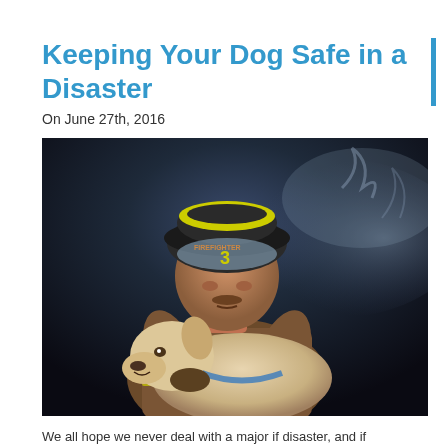Keeping Your Dog Safe in a Disaster
On June 27th, 2016
[Figure (photo): A firefighter in full gear with helmet marked 'FIREFIGHTER 3' crouching down and holding a white Labrador dog, with smoke in the background against a dark scene.]
We all hope we never deal with a major if disaster, and if